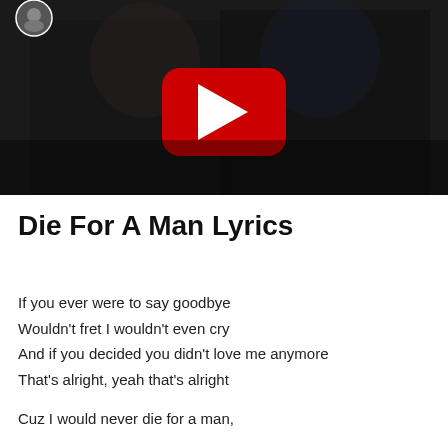[Figure (screenshot): YouTube video thumbnail showing two people in dark clothing with a red YouTube play button overlay. A small circular avatar is visible in the top-left corner.]
Die For A Man Lyrics
If you ever were to say goodbye
Wouldn't fret I wouldn't even cry
And if you decided you didn't love me anymore
That's alright, yeah that's alright
Cuz I would never die for a man,